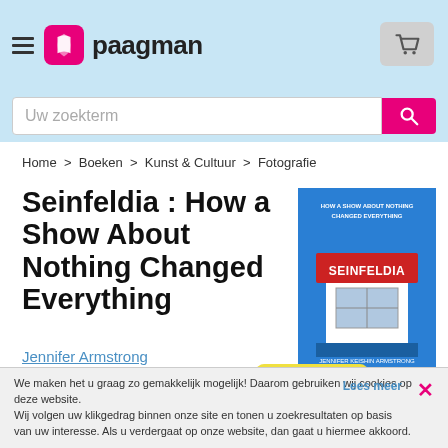paagman
Uw zoekterm
Home > Boeken > Kunst & Cultuur > Fotografie
Seinfeldia : How a Show About Nothing Changed Everything
[Figure (photo): Book cover of Seinfeldia showing a newsstand with a red awning labeled SEINFELDIA on a blue background]
Jennifer Armstrong
€ 28,50
GRATIS BEZORGD
gebonden
We maken het u graag zo gemakkelijk mogelijk! Daarom gebruiken wij cookies op deze website. Wij volgen uw klikgedrag binnen onze site en tonen u zoekresultaten op basis van uw interesse. Als u verdergaat op onze website, dan gaat u hiermee akkoord.